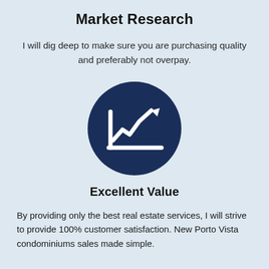Market Research
I will dig deep to make sure you are purchasing quality and preferably not overpay.
[Figure (illustration): Dark navy blue circle icon containing a white line chart with an upward trending arrow, representing market growth or value.]
Excellent Value
By providing only the best real estate services, I will strive to provide 100% customer satisfaction. New Porto Vista condominiums sales made simple.